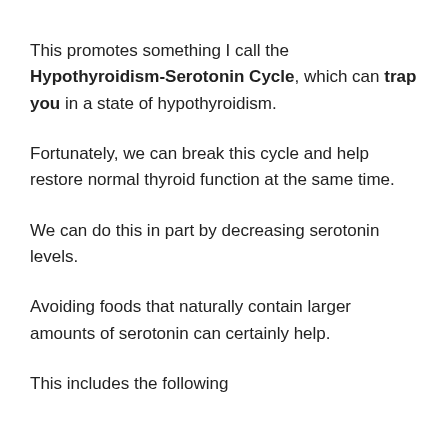This promotes something I call the Hypothyroidism-Serotonin Cycle, which can trap you in a state of hypothyroidism.
Fortunately, we can break this cycle and help restore normal thyroid function at the same time.
We can do this in part by decreasing serotonin levels.
Avoiding foods that naturally contain larger amounts of serotonin can certainly help.
This includes the following